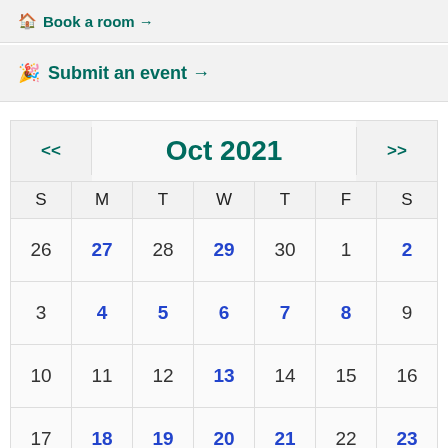Book a room →
Submit an event →
[Figure (other): October 2021 calendar with navigation arrows and event dates highlighted in blue: 27, 29, 2, 4, 5, 6, 7, 8, 13, 18, 19, 20, 21, 23]